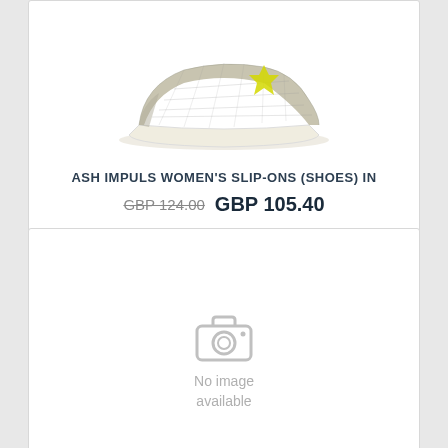[Figure (photo): Snake-skin patterned slip-on shoe (Ash Impuls) with yellow star detail and white sole, photographed on white background]
ASH IMPULS WOMEN'S SLIP-ONS (SHOES) IN
GBP 124.00  GBP 105.40
[Figure (photo): No image available placeholder with camera icon]
No image available
TOMS WOMENS ASH CANVAS CLASSIC ESPADRILLES